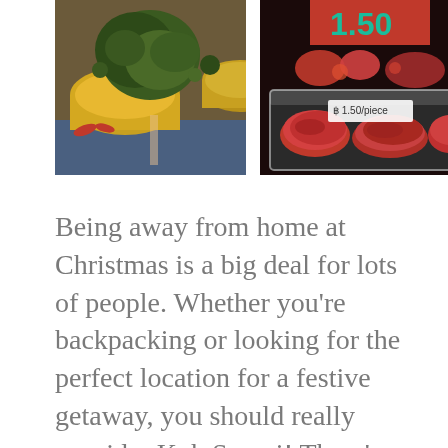[Figure (photo): Two food market photos side by side: left shows cooking pots with herbs and yellow curry sauce, right shows red food items with a price tag showing 1.50]
Being away from home at Christmas is a big deal for lots of people. Whether you're backpacking or looking for the perfect location for a festive getaway, you should really consider Koh Samui! There's something festive going on in all areas of Samui, but Chaweng will have Christmas parties going for days. Comment if you decide to go, we'd love to hear how you enjoyed your time on this stunning island! If you're